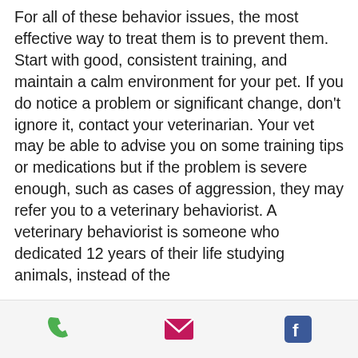For all of these behavior issues, the most effective way to treat them is to prevent them. Start with good, consistent training, and maintain a calm environment for your pet. If you do notice a problem or significant change, don't ignore it, contact your veterinarian. Your vet may be able to advise you on some training tips or medications but if the problem is severe enough, such as cases of aggression, they may refer you to a veterinary behaviorist. A veterinary behaviorist is someone who dedicated 12 years of their life studying animals, instead of the
[phone icon] [email icon] [facebook icon]